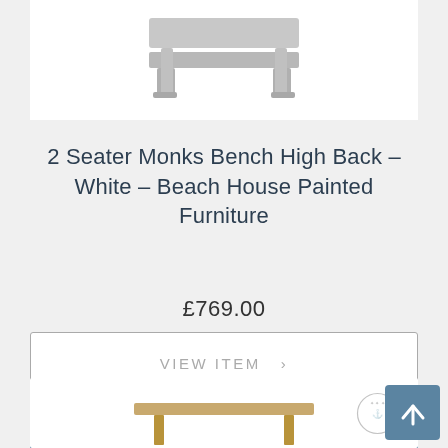[Figure (photo): Product image of a white painted monks bench with high back, shown on white background, cropped at top of page]
2 Seater Monks Bench High Back – White – Beach House Painted Furniture
£769.00
VIEW ITEM >
ADD TO CART
[Figure (photo): Bottom portion of another product card visible at bottom of page, showing a wooden furniture item with a crest/logo watermark]